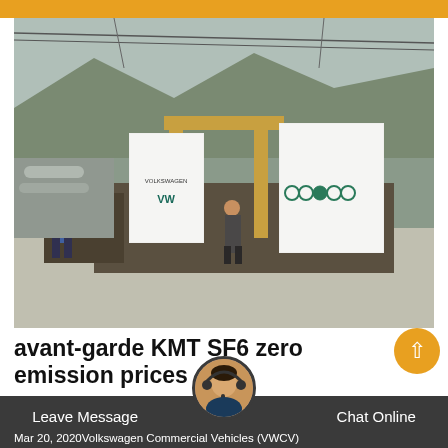[Figure (photo): Outdoor industrial/construction site scene with a truck loaded with display boards showing Volkswagen logos, workers in background, mountainous terrain visible]
avant-garde KMT SF6 zero emission prices
Mar 20, 2020Volkswagen Commercial Vehicles (VWCV)
Leave Message   Chat Online